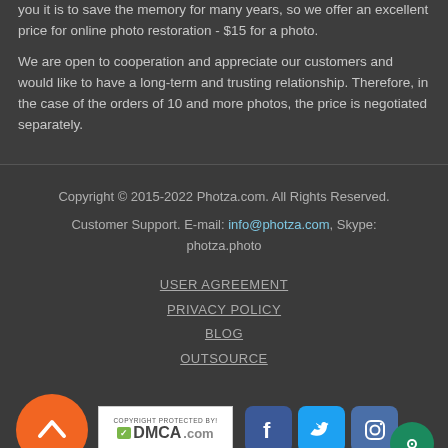you it is to save the memory for many years, so we offer an excellent price for online photo restoration - $15 for a photo.
We are open to cooperation and appreciate our customers and would like to have a long-term and trusting relationship. Therefore, in the case of the orders of 10 and more photos, the price is negotiated separately.
Copyright © 2015-2022 Photza.com. All Rights Reserved.
Customer Support. E-mail: info@photza.com, Skype: photza.photo
USER AGREEMENT
PRIVACY POLICY
BLOG
OUTSOURCE